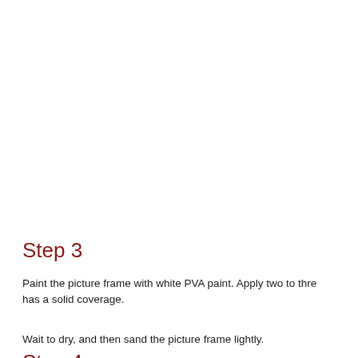Step 3
Paint the picture frame with white PVA paint. Apply two to three coats, ensuring the frame has a solid coverage.
Wait to dry, and then sand the picture frame lightly.
Step 4